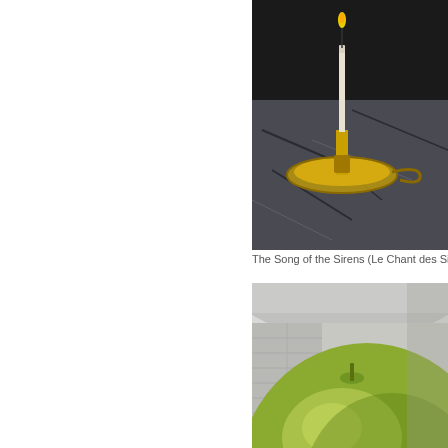[Figure (photo): A close-up photograph of a candle holder or candlestick on a cracked dark marble or stone surface, partially cut off at the top.]
The Song of the Sirens (Le Chant des Sir
[Figure (photo): A large green apple filling most of the frame, positioned in what appears to be a stone or brick room interior, with walls and an arched ceiling visible in the background.]